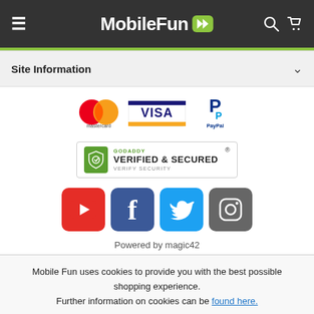MobileFun
Site Information
[Figure (logo): Payment method logos: Mastercard, Visa, PayPal]
[Figure (logo): GoDaddy Verified & Secured badge]
[Figure (logo): Social media icons: YouTube, Facebook, Twitter, Instagram]
Powered by magic42
Mobile Fun uses cookies to provide you with the best possible shopping experience. Further information on cookies can be found here.
ACCEPT ALL